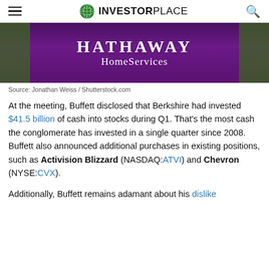INVESTORPLACE
[Figure (photo): Berkshire Hathaway HomeServices sign with purple background and green foliage on sides]
Source: Jonathan Weiss / Shutterstock.com
At the meeting, Buffett disclosed that Berkshire had invested $41.5 billion of cash into stocks during Q1. That's the most cash the conglomerate has invested in a single quarter since 2008. Buffett also announced additional purchases in existing positions, such as Activision Blizzard (NASDAQ:ATVI) and Chevron (NYSE:CVX).
Additionally, Buffett remains adamant about his dislike